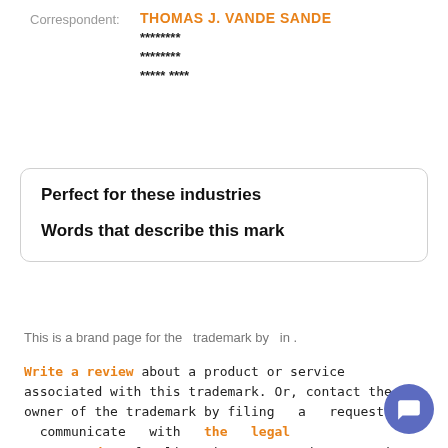Correspondent: THOMAS J. VANDE SANDE
********
********
***** ****
Perfect for these industries
Words that describe this mark
This is a brand page for the  trademark by  in .
Write a review about a product or service associated with this trademark. Or, contact the owner of the trademark by filing a request to communicate with the legal Correspondent for licensing, use, and/or questions r... the trademark.